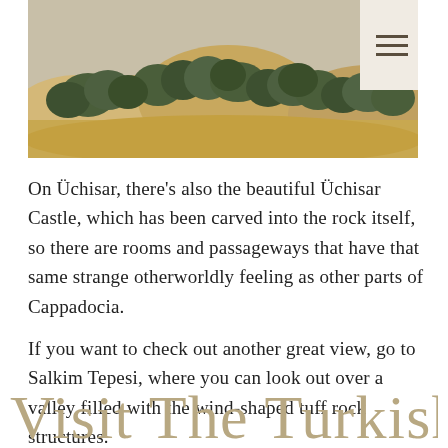[Figure (photo): Landscape photo showing rocky hillside with green trees and dry golden grasses in Cappadocia, Turkey]
On Üchisar, there's also the beautiful Üchisar Castle, which has been carved into the rock itself, so there are rooms and passageways that have that same strange otherworldly feeling as other parts of Cappadocia.
If you want to check out another great view, go to Salkim Tepesi, where you can look out over a valley filled with the wind-shaped tuff rock structures.
Visit The Turkish